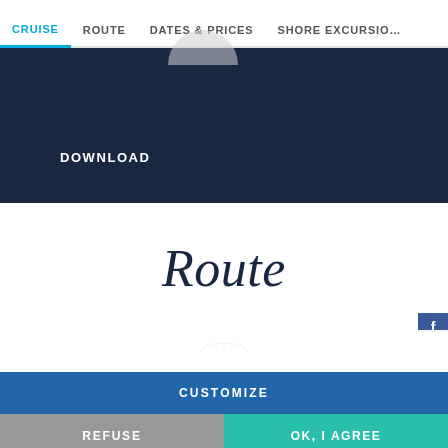CRUISE  ROUTE  DATES & PRICES  SHORE EXCURSIONS
[Figure (screenshot): Dark navy banner with a partial gray semicircle at top and DOWNLOAD text]
Route
[Figure (illustration): Shell / scallop icon outline in dark blue]
We use cookies on this site to enhance your user experience. By clicking any link on this page you are giving your consent for us to set cookies. For more details, click on "Learn more".
CUSTOMIZE
REFUSE
OK, I AGREE